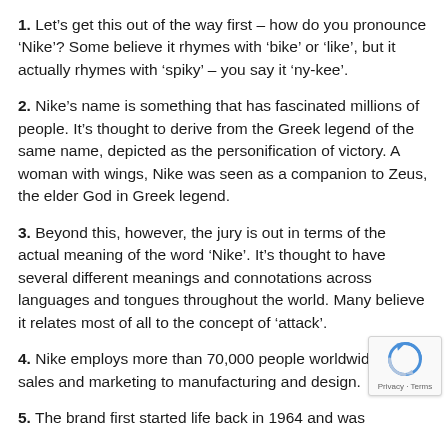1. Let's get this out of the way first – how do you pronounce 'Nike'? Some believe it rhymes with 'bike' or 'like', but it actually rhymes with 'spiky' – you say it 'ny-kee'.
2. Nike's name is something that has fascinated millions of people. It's thought to derive from the Greek legend of the same name, depicted as the personification of victory. A woman with wings, Nike was seen as a companion to Zeus, the elder God in Greek legend.
3. Beyond this, however, the jury is out in terms of the actual meaning of the word 'Nike'. It's thought to have several different meanings and connotations across languages and tongues throughout the world. Many believe it relates most of all to the concept of 'attack'.
4. Nike employs more than 70,000 people worldwide from sales and marketing to manufacturing and design.
5. The brand first started life back in 1964 and was